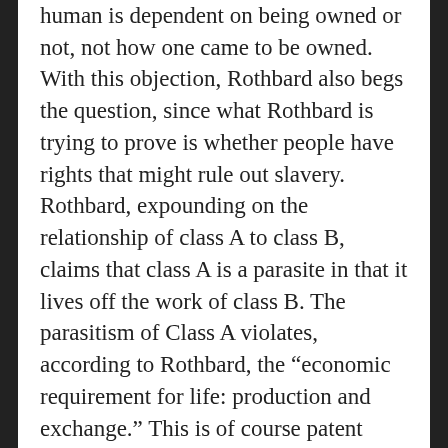human is dependent on being owned or not, not how one came to be owned. With this objection, Rothbard also begs the question, since what Rothbard is trying to prove is whether people have rights that might rule out slavery. Rothbard, expounding on the relationship of class A to class B, claims that class A is a parasite in that it lives off the work of class B. The parasitism of Class A violates, according to Rothbard, the “economic requirement for life: production and exchange.” This is of course patent nonsense, since plants and animals do not produce or exchange goods and do quite well living.
Rothbard’s secondary alternative is the claim that “everyone has the right to own his own equal quotal share of everyone else.” Rothbard